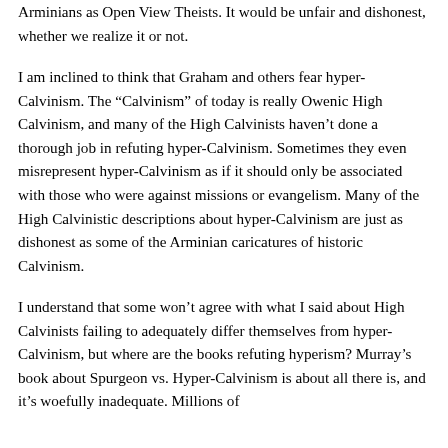Arminians as Open View Theists. It would be unfair and dishonest, whether we realize it or not.
I am inclined to think that Graham and others fear hyper-Calvinism. The “Calvinism” of today is really Owenic High Calvinism, and many of the High Calvinists haven’t done a thorough job in refuting hyper-Calvinism. Sometimes they even misrepresent hyper-Calvinism as if it should only be associated with those who were against missions or evangelism. Many of the High Calvinistic descriptions about hyper-Calvinism are just as dishonest as some of the Arminian caricatures of historic Calvinism.
I understand that some won’t agree with what I said about High Calvinists failing to adequately differ themselves from hyper-Calvinism, but where are the books refuting hyperism? Murray’s book about Spurgeon vs. Hyper-Calvinism is about all there is, and it’s woefully inadequate. Millions of